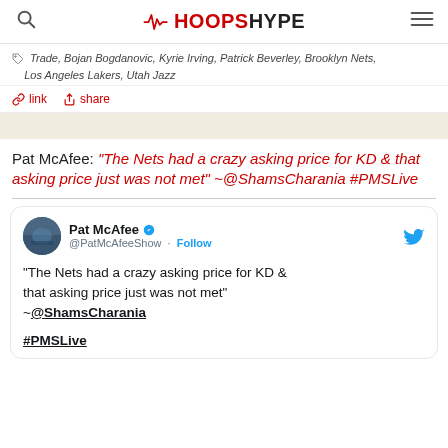HOOPSHYPE
Trade, Bojan Bogdanovic, Kyrie Irving, Patrick Beverley, Brooklyn Nets, Los Angeles Lakers, Utah Jazz
link  share
Pat McAfee: "The Nets had a crazy asking price for KD & that asking price just was not met" ~@ShamsCharania #PMSLive
[Figure (screenshot): Embedded tweet from @PatMcAfeeShow: '"The Nets had a crazy asking price for KD & that asking price just was not met" ~@ShamsCharania #PMSLive'. Includes Pat McAfee profile picture, verified badge, Follow button, and Twitter bird icon.]